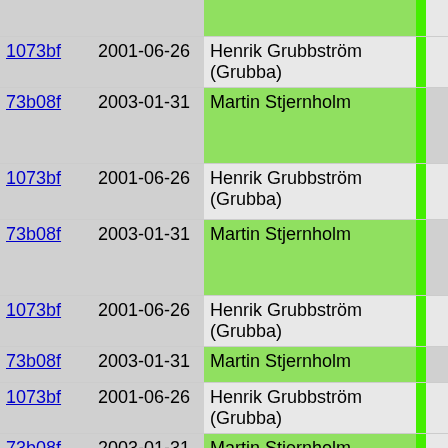| Hash | Date | Author |  | Code |
| --- | --- | --- | --- | --- |
| 1073bf | 2001-06-26 | Henrik Grubbström (Grubba) |  | } |
| 73b08f | 2003-01-31 | Martin Stjernholm |  | if (
  fr
  TH |
| 1073bf | 2001-06-26 | Henrik Grubbström (Grubba) |  | }
} else |
| 73b08f | 2003-01-31 | Martin Stjernholm |  | if (
  fr
  TH |
| 1073bf | 2001-06-26 | Henrik Grubbström (Grubba) |  | } |
| 73b08f | 2003-01-31 | Martin Stjernholm |  | copy |
| 1073bf | 2001-06-26 | Henrik Grubbström (Grubba) |  | }
break; |
| 73b08f | 2003-01-31 | Martin Stjernholm |  | case 1:
  if (TH
  if (va
    SIMP
  }
  THIS->
  break; |
| 1073bf | 2001-06-26 | Henrik Grubbström (Grubba) |  | case 2: |